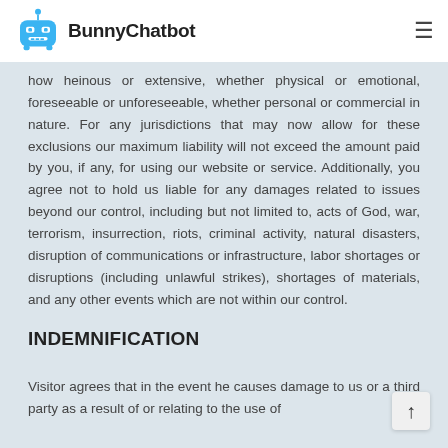BunnyChatbot
how heinous or extensive, whether physical or emotional, foreseeable or unforeseeable, whether personal or commercial in nature. For any jurisdictions that may now allow for these exclusions our maximum liability will not exceed the amount paid by you, if any, for using our website or service. Additionally, you agree not to hold us liable for any damages related to issues beyond our control, including but not limited to, acts of God, war, terrorism, insurrection, riots, criminal activity, natural disasters, disruption of communications or infrastructure, labor shortages or disruptions (including unlawful strikes), shortages of materials, and any other events which are not within our control.
INDEMNIFICATION
Visitor agrees that in the event he causes damage to us or a third party as a result of or relating to the use of